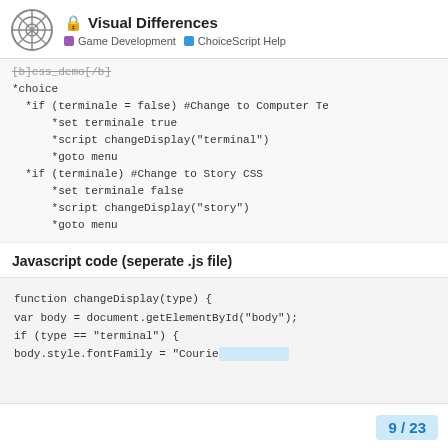Visual Differences — Game Development | ChoiceScript Help
[b]css_demo[/b]
*choice
  *if (terminale = false) #Change to Computer Te
      *set terminale true
      *script changeDisplay("terminal")
      *goto menu
  *if (terminale) #Change to Story CSS
      *set terminale false
      *script changeDisplay("story")
      *goto menu
Javascript code (seperate .js file)
function changeDisplay(type) {
var body = document.getElementById("body");
if (type == "terminal") {
body.style.fontFamily = "Courie
9 / 23